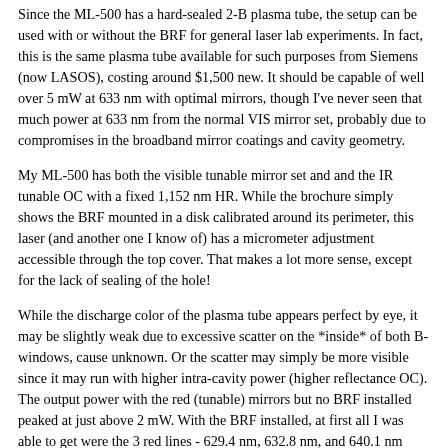Since the ML-500 has a hard-sealed 2-B plasma tube, the setup can be used with or without the BRF for general laser lab experiments. In fact, this is the same plasma tube available for such purposes from Siemens (now LASOS), costing around $1,500 new. It should be capable of well over 5 mW at 633 nm with optimal mirrors, though I've never seen that much power at 633 nm from the normal VIS mirror set, probably due to compromises in the broadband mirror coatings and cavity geometry.
My ML-500 has both the visible tunable mirror set and and the IR tunable OC with a fixed 1,152 nm HR. While the brochure simply shows the BRF mounted in a disk calibrated around its perimeter, this laser (and another one I know of) has a micrometer adjustment accessible through the top cover. That makes a lot more sense, except for the lack of sealing of the hole!
While the discharge color of the plasma tube appears perfect by eye, it may be slightly weak due to excessive scatter on the *inside* of both B-windows, cause unknown. Or the scatter may simply be more visible since it may run with higher intra-cavity power (higher reflectance OC). The output power with the red (tunable) mirrors but no BRF installed peaked at just above 2 mW. With the BRF installed, at first all I was able to get were the 3 red lines - 629.4 nm, 632.8 nm, and 640.1 nm with a maximum power at 632.8 nm of around 1.70 mW. The spec calls for 2.5 mW minimum at 632.8 nm, so this isn't that far below it, though I'm